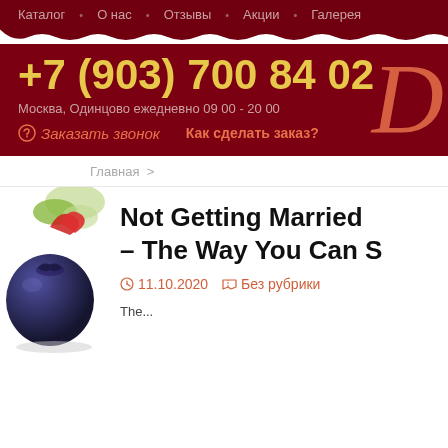Каталог · О нас · Отзывы · Акции · Галерея
+7 (903) 700 84 02
Москва, Одинцово ежедневно 09 00 - 20 00
Заказать звонок   Как сделать заказ?
Главная >
Not Getting Married – The Way You Can S
11.10.2020   Без рубрики
The...